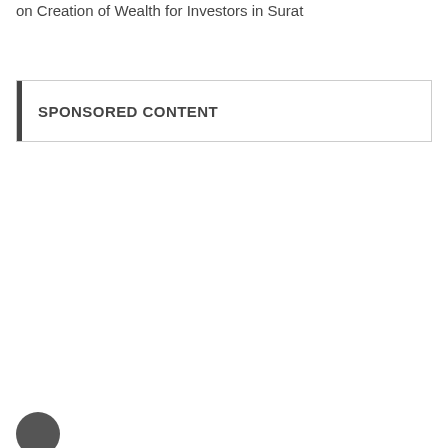on Creation of Wealth for Investors in Surat
SPONSORED CONTENT